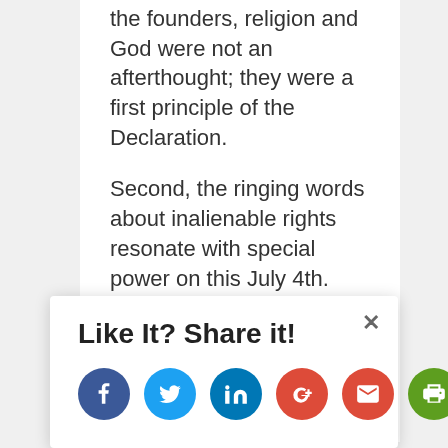the founders, religion and God were not an afterthought; they were a first principle of the Declaration.
Second, the ringing words about inalienable rights resonate with special power on this July 4th.  Drawing on Biblical precedent (Genesis 1:27), the Declaration of Independence affirms in the
Like It? Share it!